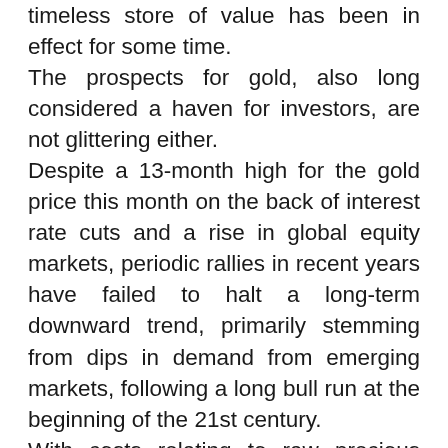timeless store of value has been in effect for some time. The prospects for gold, also long considered a haven for investors, are not glittering either. Despite a 13-month high for the gold price this month on the back of interest rate cuts and a rise in global equity markets, periodic rallies in recent years have failed to halt a long-term downward trend, primarily stemming from dips in demand from emerging markets, following a long bull run at the beginning of the 21st century. With costs relating to raw precious materials in a constant state of flux, many of the big name purveyors —